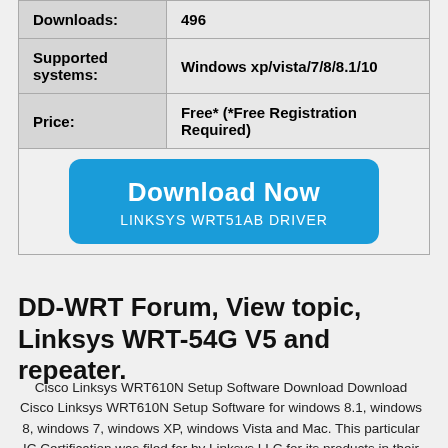|  |  |
| --- | --- |
| Downloads: | 496 |
| Supported systems: | Windows xp/vista/7/8/8.1/10 |
| Price: | Free* (*Free Registration Required) |
| [Download Now button] | LINKSYS WRT51AB DRIVER |
DD-WRT Forum, View topic, Linksys WRT-54G V5 and repeater.
Cisco Linksys WRT610N Setup Software Download Download Cisco Linksys WRT610N Setup Software for windows 8.1, windows 8, windows 7, windows XP, windows Vista and Mac. This particular IC Certification was filed for by Linksys LLC for its products in their product model...